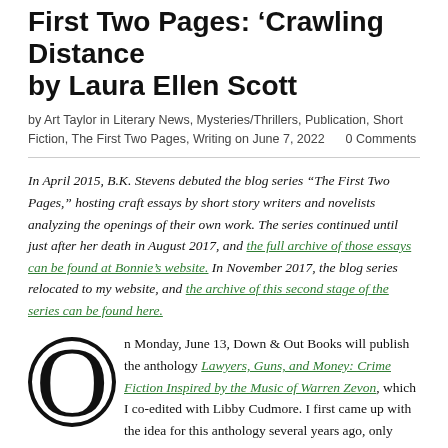First Two Pages: 'Crawling Distance by Laura Ellen Scott
by Art Taylor in Literary News, Mysteries/Thrillers, Publication, Short Fiction, The First Two Pages, Writing on June 7, 2022   0 Comments
In April 2015, B.K. Stevens debuted the blog series “The First Two Pages,” hosting craft essays by short story writers and novelists analyzing the openings of their own work. The series continued until just after her death in August 2017, and the full archive of those essays can be found at Bonnie’s website. In November 2017, the blog series relocated to my website, and the archive of this second stage of the series can be found here.
On Monday, June 13, Down & Out Books will publish the anthology Lawyers, Guns, and Money: Crime Fiction Inspired by the Music of Warren Zevon, which I co-edited with Libby Cudmore. I first came up with the idea for this anthology several years ago, only